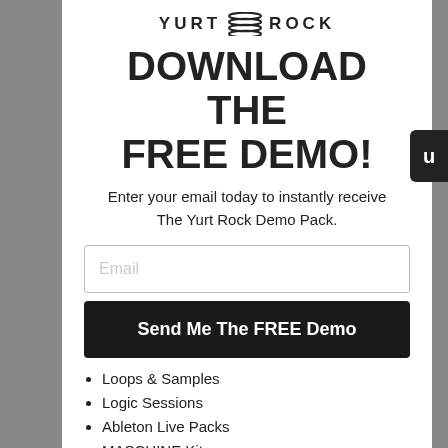[Figure (logo): Yurt Rock logo with stylized horizontal lines icon between YURT and ROCK text]
DOWNLOAD THE FREE DEMO!
Enter your email today to instantly receive The Yurt Rock Demo Pack.
Email (input field placeholder)
Send Me The FREE Demo
Loops & Samples
Logic Sessions
Ableton Live Packs
MASCHINE Kits
Multitrack Drums